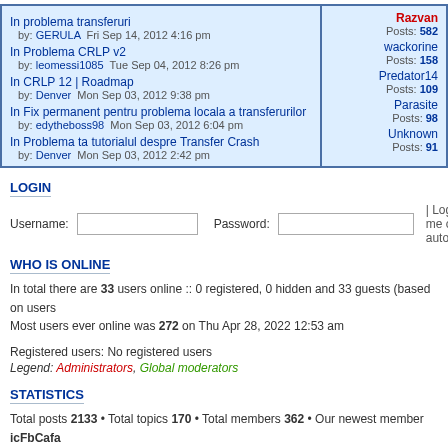| Topic/Post info | User stats |
| --- | --- |
| In problema transferuri
  by: GERULA  Fri Sep 14, 2012 4:16 pm
In Problema CRLP v2
  by: leomessi1085  Tue Sep 04, 2012 8:26 pm
In CRLP 12 | Roadmap
  by: Denver  Mon Sep 03, 2012 9:38 pm
In Fix permanent pentru problema locala a transferurilor
  by: edytheboss98  Mon Sep 03, 2012 6:04 pm
In Problema ta tutorialul despre Transfer Crash
  by: Denver  Mon Sep 03, 2012 2:42 pm | Razvan
Posts: 582
wackorine
Posts: 158
Predator14
Posts: 109
Parasite
Posts: 98
Unknown
Posts: 91 |
LOGIN
Username:  [input]  Password:  [input]  | Log me on autom
WHO IS ONLINE
In total there are 33 users online :: 0 registered, 0 hidden and 33 guests (based on users
Most users ever online was 272 on Thu Apr 28, 2022 12:53 am
Registered users: No registered users
Legend: Administrators, Global moderators
STATISTICS
Total posts 2133 • Total topics 170 • Total members 362 • Our newest member icFbCafa
Board index  |  The team • Delete all  |  Powered by phpBB® Forum Software © phpBB G